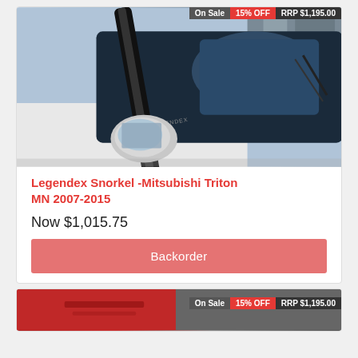[Figure (photo): Photo of a black Legendex snorkel fitted to a white Mitsubishi Triton, showing the A-pillar snorkel and side mirror of the vehicle]
On Sale   15% OFF   RRP $1,195.00
Legendex Snorkel -Mitsubishi Triton MN 2007-2015
Now $1,015.75
Backorder
[Figure (photo): Partial preview of a second product card showing a red vehicle, with badge bar: On Sale, 15% OFF, RRP $1,195.00]